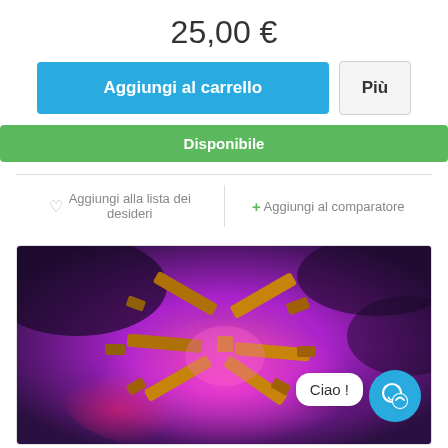25,00 €
Aggiungi al carrello
Più
Disponibile
♡ Aggiungi alla lista dei desideri
+ Aggiungi al comparatore
[Figure (photo): Photo of a ceiling fan with colorful LED lighting in pink/purple hues, viewed from below. A chat bubble with 'Ciao !' text and a blue chat icon are overlaid on the image.]